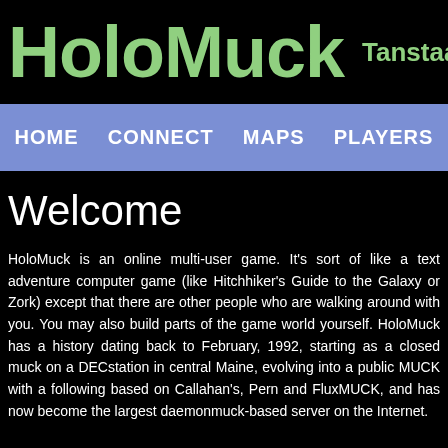HoloMuck Tanstaafl and Beyond
HOME   CONNECT   MAPS   PLAYERS
Welcome
HoloMuck is an online multi-user game. It's sort of like a text adventure computer game (like Hitchhiker's Guide to the Galaxy or Zork) except that there are other people who are walking around with you. You may also build parts of the game world yourself. HoloMuck has a history dating back to February, 1992, starting as a closed muck on a DECstation in central Maine, evolving into a public MUCK with a following based on Callahan's, Pern and FluxMUCK, and has now become the largest daemonmuck-based server on the Internet.